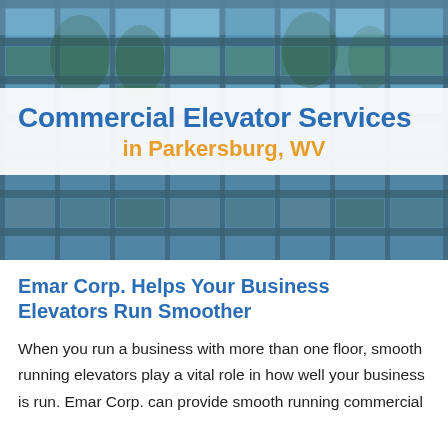[Figure (photo): Glass curtain-wall commercial office building exterior with reflections of trees in the windows, serving as a hero banner background image.]
Commercial Elevator Services in Parkersburg, WV
Emar Corp. Helps Your Business Elevators Run Smoother
When you run a business with more than one floor, smooth running elevators play a vital role in how well your business is run. Emar Corp. can provide smooth running commercial